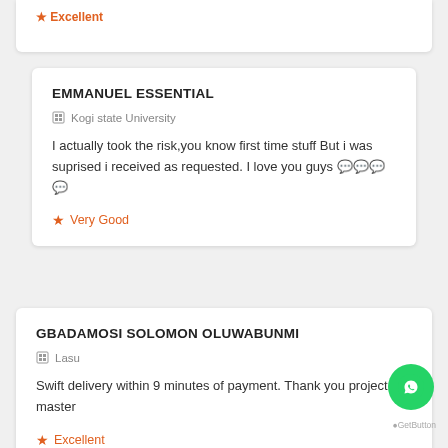Excellent
EMMANUEL ESSENTIAL
Kogi state University
I actually took the risk,you know first time stuff But i was suprised i received as requested. I love you guys 🎉🎉🎉🎉
Very Good
GBADAMOSI SOLOMON OLUWABUNMI
Lasu
Swift delivery within 9 minutes of payment. Thank you project master
Excellent